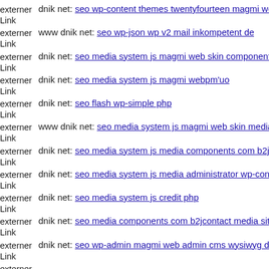externer Link dnik net: seo wp-content themes twentyfourteen magmi we
externer Link www dnik net: seo wp-json wp v2 mail inkompetent de
externer Link dnik net: seo media system js magmi web skin components
externer Link dnik net: seo media system js magmi webpm'uo
externer Link dnik net: seo flash wp-simple php
externer Link www dnik net: seo media system js magmi web skin media
externer Link dnik net: seo media system js media components com b2jco
externer Link dnik net: seo media system js media administrator wp-conte
externer Link dnik net: seo media system js credit php
externer Link dnik net: seo media components com b2jcontact media sites
externer Link dnik net: seo wp-admin magmi web admin cms wysiwyg di
externer